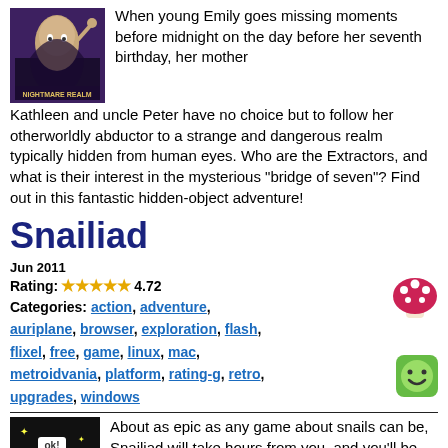When young Emily goes missing moments before midnight on the day before her seventh birthday, her mother Kathleen and uncle Peter have no choice but to follow her otherworldly abductor to a strange and dangerous realm typically hidden from human eyes. Who are the Extractors, and what is their interest in the mysterious "bridge of seven"? Find out in this fantastic hidden-object adventure!
Snailiad
Jun 2011
Rating: ★★★★★ 4.72
Categories: action, adventure, auriplane, browser, exploration, flash, flixel, free, game, linux, mac, metroidvania, platform, rating-g, retro, upgrades, windows
About as epic as any game about snails can be, Snailiad will take hours from you, and you'll be glad to see them gone. It's action-packed and adventure-filled, completely unlike the lives of real snails, who mostly sit